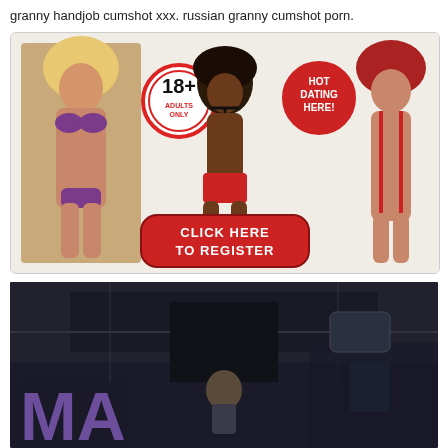granny handjob cumshot xxx. russian granny cumshot porn.
[Figure (other): Adult dating advertisement banner with three women in swimwear/lingerie, an 18+ adults only badge, a 'HOT DATING HERE!' badge, and a red button reading 'CLICK HERE TO REGISTER']
[Figure (other): Dark sci-fi/military themed image with large purple letters 'MA' visible at the bottom left, showing a figure in a dark interior scene]